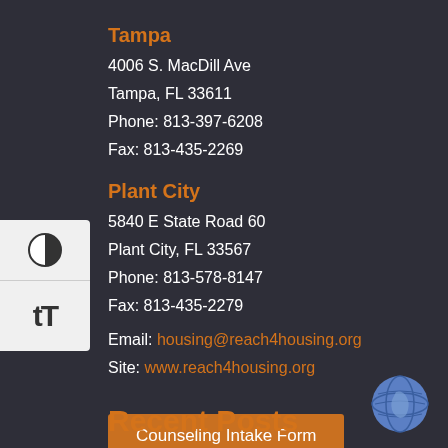Tampa
4006 S. MacDill Ave
Tampa, FL 33611
Phone: 813-397-6208
Fax: 813-435-2269
Plant City
5840 E State Road 60
Plant City, FL 33567
Phone: 813-578-8147
Fax: 813-435-2279
Email: housing@reach4housing.org
Site: www.reach4housing.org
Counseling Intake Form
Recent Posts